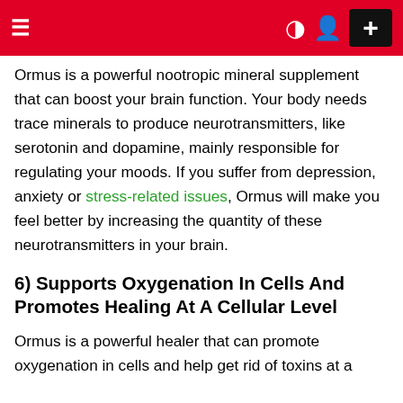≡  ) (user icon)  +
Ormus is a powerful nootropic mineral supplement that can boost your brain function. Your body needs trace minerals to produce neurotransmitters, like serotonin and dopamine, mainly responsible for regulating your moods. If you suffer from depression, anxiety or stress-related issues, Ormus will make you feel better by increasing the quantity of these neurotransmitters in your brain.
6) Supports Oxygenation In Cells And Promotes Healing At A Cellular Level
Ormus is a powerful healer that can promote oxygenation in cells and help get rid of toxins at a